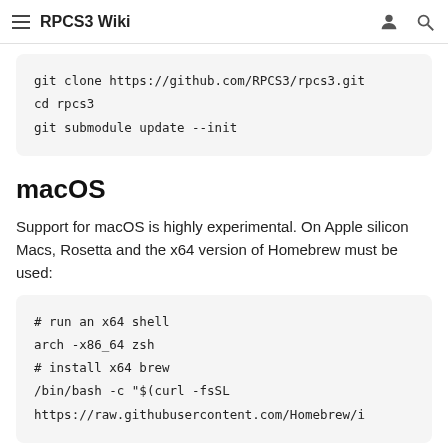RPCS3 Wiki
Clone and initialize the repository:
git clone https://github.com/RPCS3/rpcs3.git
cd rpcs3
git submodule update --init
macOS
Support for macOS is highly experimental. On Apple silicon Macs, Rosetta and the x64 version of Homebrew must be used:
# run an x64 shell
arch -x86_64 zsh
# install x64 brew
/bin/bash -c "$(curl -fsSL
https://raw.githubusercontent.com/Homebrew/i